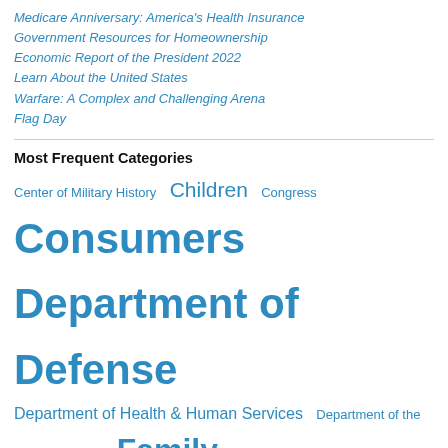Medicare Anniversary: America's Health Insurance
Government Resources for Homeownership
Economic Report of the President 2022
Learn About the United States
Warfare: A Complex and Challenging Arena
Flag Day
Most Frequent Categories
Center of Military History  Children  Congress  Consumers  Department of Defense  Department of Health & Human Services  Department of the Interior  ebooks  Family  Government Printing Office (GPO)  Health care  Libraries  Military History  NASA  National Park Service  Travel and Tourism  U.S. Army  U.S. History  U.S. Navy